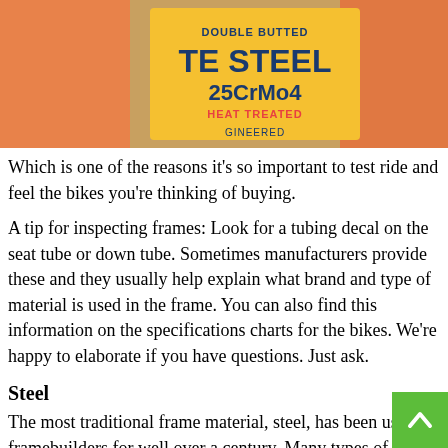[Figure (photo): Close-up photo of a bicycle tube label reading 'DOUBLE BUTTED TE STEEL 25CrMo4 HEAT TREATED ENGINEERED' on an orange/salmon colored bicycle frame.]
Which is one of the reasons it's so important to test ride and feel the bikes you're thinking of buying.
A tip for inspecting frames: Look for a tubing decal on the seat tube or down tube. Sometimes manufacturers provide these and they usually help explain what brand and type of material is used in the frame. You can also find this information on the specifications charts for the bikes. We're happy to elaborate if you have questions. Just ask.
Steel
The most traditional frame material, steel, has been used by framebuilders for well over a century. Many types of steel tubing are available and the material is easy to bend and shape. Plus, there are myriad methods of assembly and it can be welded to a distinct look and style b...